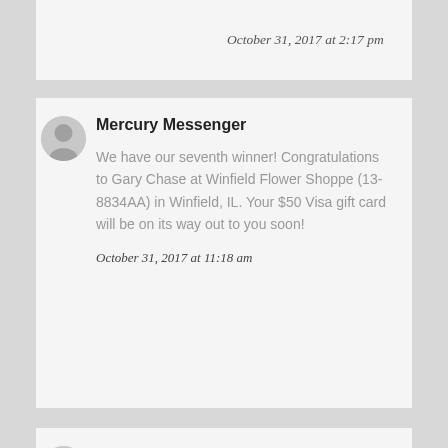October 31, 2017 at 2:17 pm
Mercury Messenger
We have our seventh winner! Congratulations to Gary Chase at Winfield Flower Shoppe (13-8834AA) in Winfield, IL. Your $50 Visa gift card will be on its way out to you soon!
October 31, 2017 at 11:18 am
Mercury Messenger
We have our sixth winner! Congratulations to Deb Deieso at Fresh